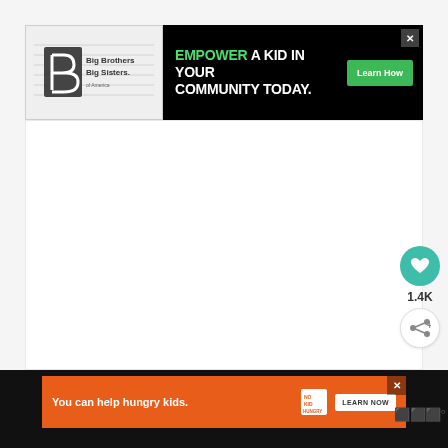[Figure (other): Big Brothers Big Sisters of America logo with stylized B icon]
[Figure (other): Banner advertisement: EMPOWER A KID IN YOUR COMMUNITY TODAY. with green Learn How button on black background, with close X button]
[Figure (other): Teal circular heart/like button with count 1.4K and white share button below]
[Figure (other): Bottom banner ad on black background: You can help hungry kids. No Kid Hungry logo and LEARN NOW button]
[Figure (other): Wordmark logo partially visible at bottom right on black bar]